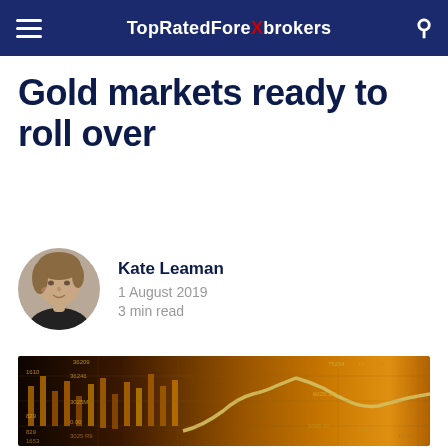TopRatedForeXbrokers
Gold markets ready to roll over
Kate Leaman
1 August 2019
3 min read
[Figure (photo): Financial market chart with gold-toned candlestick and line chart overlay, showing price levels and trading data on a dark gold background]